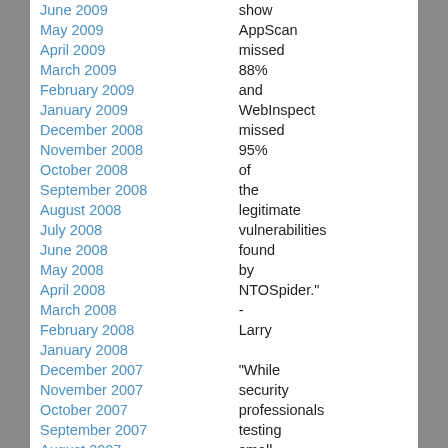June 2009
May 2009
April 2009
March 2009
February 2009
January 2009
December 2008
November 2008
October 2008
September 2008
August 2008
July 2008
June 2008
May 2008
April 2008
March 2008
February 2008
January 2008
December 2007
November 2007
October 2007
September 2007
August 2007
July 2007
June 2007
show AppScan missed 88% and WebInspect missed 95% of the legitimate vulnerabilities found by NTOSpider." - Larry

"While security professionals testing small, highly secure, simple applications may achieve acceptable